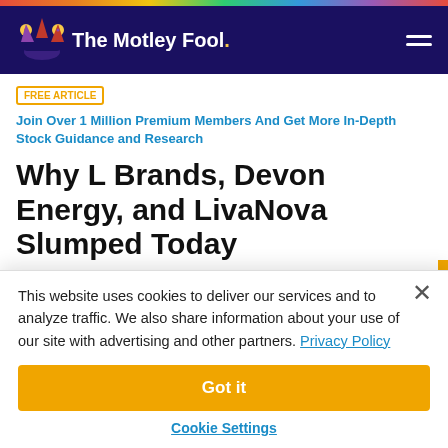The Motley Fool
FREE ARTICLE   Join Over 1 Million Premium Members And Get More In-Depth Stock Guidance and Research
Why L Brands, Devon Energy, and LivaNova Slumped Today
By Dan Caplinger   Nov 20, 2018 at 4:15PM
This website uses cookies to deliver our services and to analyze traffic. We also share information about your use of our site with advertising and other partners. Privacy Policy
Got it
Cookie Settings